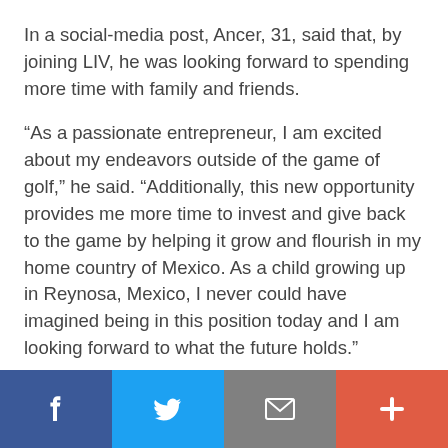In a social-media post, Ancer, 31, said that, by joining LIV, he was looking forward to spending more time with family and friends.
“As a passionate entrepreneur, I am excited about my endeavors outside of the game of golf,” he said. “Additionally, this new opportunity provides me more time to invest and give back to the game by helping it grow and flourish in my home country of Mexico. As a child growing up in Reynosa, Mexico, I never could have imagined being in this position today and I am looking forward to what the future holds.”
[Figure (infographic): Social media share bar with four buttons: Facebook (dark blue), Twitter (light blue), Email (gray), and a plus/more button (orange-red)]